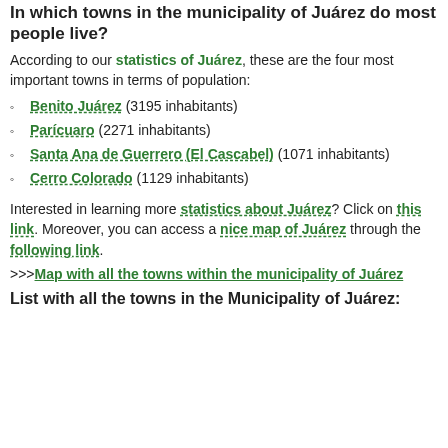In which towns in the municipality of Juárez do most people live?
According to our statistics of Juárez, these are the four most important towns in terms of population:
Benito Juárez (3195 inhabitants)
Parícuaro (2271 inhabitants)
Santa Ana de Guerrero (El Cascabel) (1071 inhabitants)
Cerro Colorado (1129 inhabitants)
Interested in learning more statistics about Juárez? Click on this link. Moreover, you can access a nice map of Juárez through the following link.
>>>Map with all the towns within the municipality of Juárez
List with all the towns in the Municipality of Juárez: